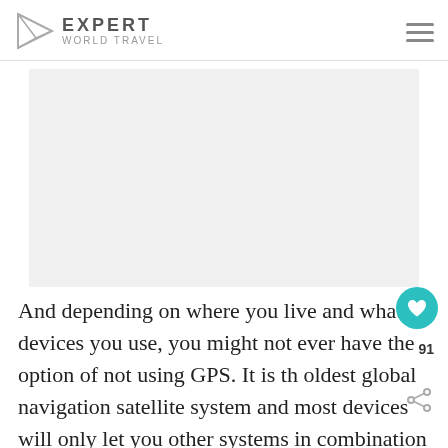Expert World Travel
[Figure (other): Advertisement placeholder block (gray rectangle)]
And depending on where you live and what devices you use, you might not ever have the option of not using GPS. It is th oldest global navigation satellite system and most devices will only let you other systems in combination with GPS –